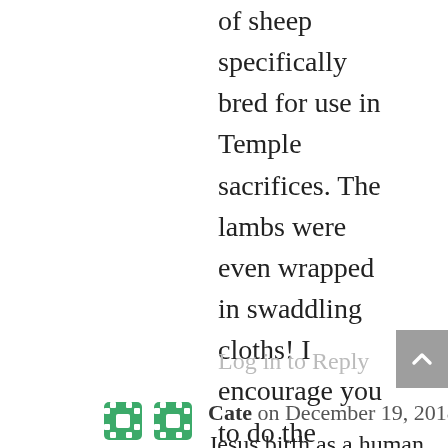of sheep specifically bred for use in Temple sacrifices. The lambs were even wrapped in swaddling cloths! I encourage you to do the search. There is so much significance in this scene that we are missing out on. There is no “coincidence” with God. Everything has a purpose.
Log in to Reply
[Figure (illustration): Green decorative avatar icon for user Cate]
Cate on December 19, 2018 at 4:02 pm
Jesus birth as a human baby has